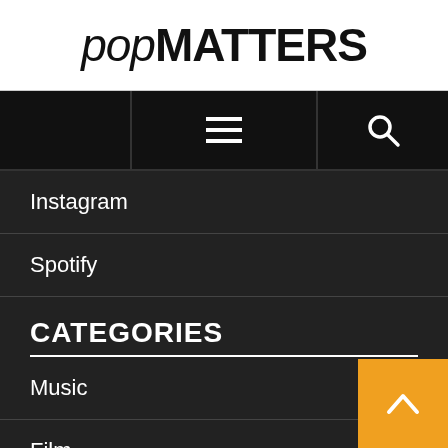[Figure (logo): PopMatters logo in black text on white background]
[Figure (screenshot): Navigation bar with hamburger menu icon and search icon on black background]
Instagram
Spotify
CATEGORIES
Music
Film
Television